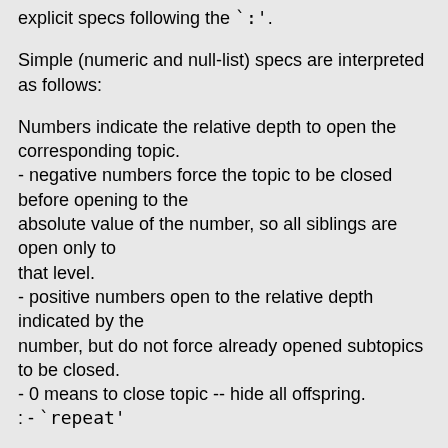explicit specs following the `:'.
Simple (numeric and null-list) specs are interpreted as follows:
Numbers indicate the relative depth to open the corresponding topic.
- negative numbers force the topic to be closed before opening to the
absolute value of the number, so all siblings are open only to
that level.
- positive numbers open to the relative depth indicated by the
number, but do not force already opened subtopics to be closed.
- 0 means to close topic -- hide all offspring.
: - `repeat'